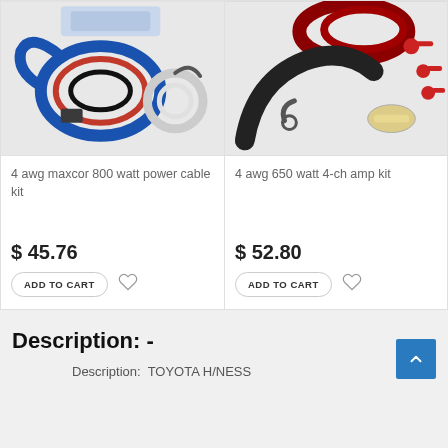[Figure (photo): Product photo of 4 awg maxcor 800 watt power cable kit showing blue and red cables coiled]
[Figure (photo): Product photo of 4 awg 650 watt 4-ch amp kit showing black and red cables with connectors]
4 awg maxcor 800 watt power cable kit
4 awg 650 watt 4-ch amp kit
$ 45.76
$ 52.80
ADD TO CART
ADD TO CART
Description: -
Description:  TOYOTA H/NESS